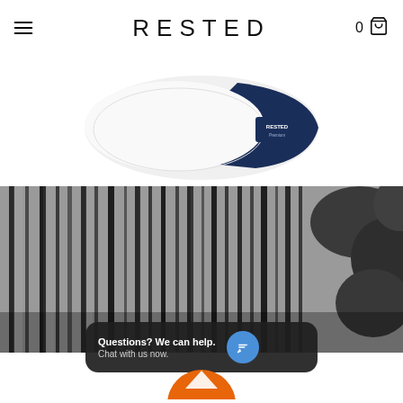RESTED
[Figure (photo): Partially visible pillow product with white fill and navy blue edge, shown at an angle against white background]
[Figure (photo): Black and white photograph of a dense forest with tall thin tree trunks and foliage on the right side]
Questions? We can help. Chat with us now.
[Figure (logo): Circular orange logo partially visible at the bottom of the page]